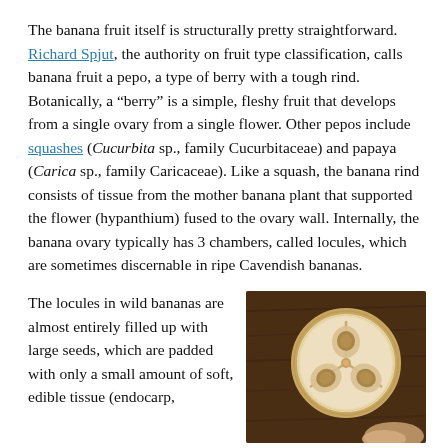The banana fruit itself is structurally pretty straightforward. Richard Spjut, the authority on fruit type classification, calls banana fruit a pepo, a type of berry with a tough rind. Botanically, a “berry” is a simple, fleshy fruit that develops from a single ovary from a single flower. Other pepos include squashes (Cucurbita sp., family Cucurbitaceae) and papaya (Carica sp., family Caricaceae). Like a squash, the banana rind consists of tissue from the mother banana plant that supported the flower (hypanthium) fused to the ovary wall. Internally, the banana ovary typically has 3 chambers, called locules, which are sometimes discernable in ripe Cavendish bananas.
The locules in wild bananas are almost entirely filled up with large seeds, which are padded with only a small amount of soft, edible tissue (endocarp,
[Figure (photo): A cross-section of a wild banana showing 3 locules (chambers) with seeds, held between fingers against a dark brown wooden background.]